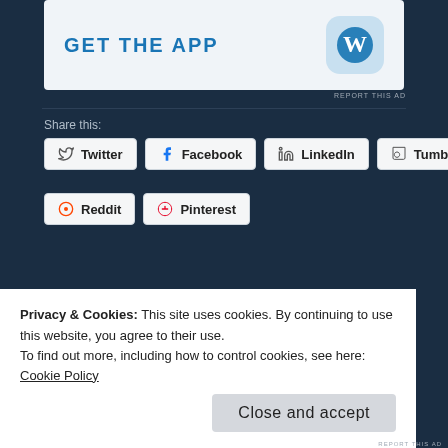[Figure (screenshot): WordPress app advertisement banner with 'GET THE APP' text and WordPress logo icon]
REPORT THIS AD
Share this:
Twitter  Facebook  LinkedIn  Tumblr  Reddit  Pinterest
[Figure (other): Like button widget with star icon]
Be the first to like this.
Privacy & Cookies: This site uses cookies. By continuing to use this website, you agree to their use.
To find out more, including how to control cookies, see here: Cookie Policy
Close and accept